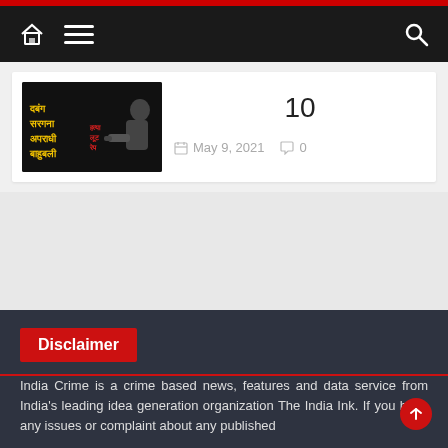Navigation bar with home, menu, and search icons
[Figure (screenshot): Dark image with Hindi text in yellow (दबंग, सरगना, अपराधी, बाहुबली) and red, with a gun silhouette]
10
May 9, 2021   0
Disclaimer
India Crime is a crime based news, features and data service from India's leading idea generation organization The India Ink. If you have any issues or complaint about any published